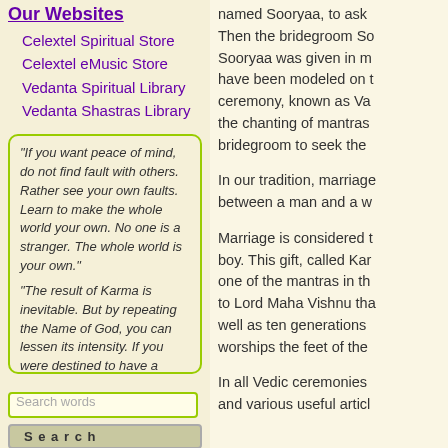Our Websites
Celextel Spiritual Store
Celextel eMusic Store
Vedanta Spiritual Library
Vedanta Shastras Library
"If you want peace of mind, do not find fault with others. Rather see your own faults. Learn to make the whole world your own. No one is a stranger. The whole world is your own." "The result of Karma is inevitable. But by repeating the Name of God, you can lessen its intensity. If you were destined to have a wound as wide as a ploughshare, you will get a pin-prick at least. The effect
Search words
Search
named Sooryaa, to ask
Then the bridegroom So
Sooryaa was given in m
have been modeled on t
ceremony, known as Va
the chanting of mantras
bridegroom to seek the
In our tradition, marriage
between a man and a w
Marriage is considered t
boy. This gift, called Kar
one of the mantras in th
to Lord Maha Vishnu tha
well as ten generations
worships the feet of the
In all Vedic ceremonies
and various useful articl